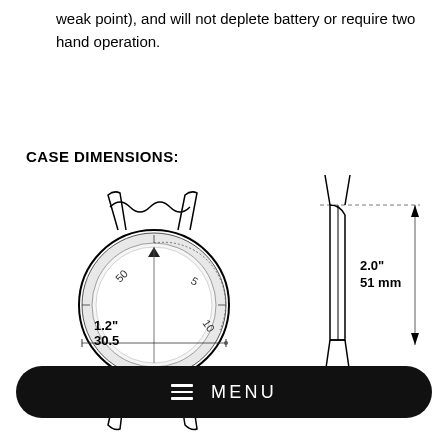weak point), and will not deplete battery or require two hand operation.
CASE DIMENSIONS:
[Figure (engineering-diagram): Technical engineering diagram showing case dimensions of a watch/compass. Left view shows front face with circular dial with numbers 50, 5, 10 visible, with dimension annotation 1.2" / 30.5 mm across the diameter. Right view shows side profile with dimension annotation 2.0" / 51 mm for height. A wavy break line is shown at top of left view. Menu bar overlay at bottom shows hamburger icon and MENU text.]